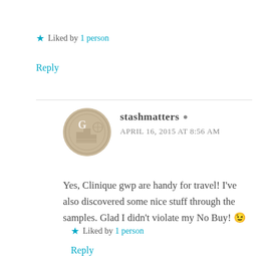★ Liked by 1 person
Reply
stashmatters 👤
APRIL 16, 2015 AT 8:56 AM
Yes, Clinique gwp are handy for travel! I've also discovered some nice stuff through the samples. Glad I didn't violate my No Buy! 😉
★ Liked by 1 person
Reply